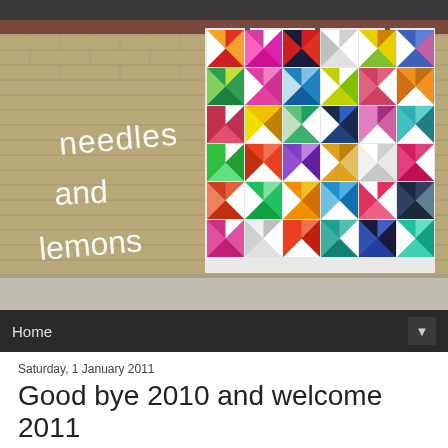[Figure (photo): Blog header image showing a colorful pinwheel/kaleidoscope quilt hung against a brick wall. White handwritten text on the wall reads 'needles and lemons'. The quilt features geometric star/pinwheel patterns in many bright colors.]
Home
Saturday, 1 January 2011
Good bye 2010 and welcome 2011